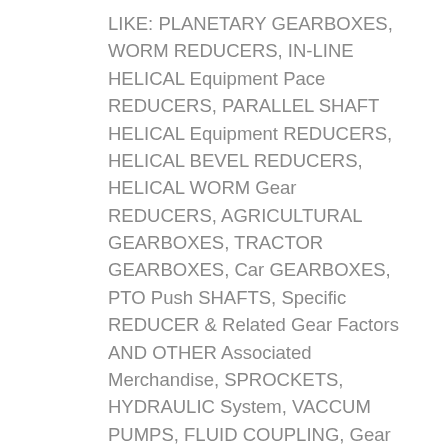LIKE: PLANETARY GEARBOXES, WORM REDUCERS, IN-LINE HELICAL Equipment Pace REDUCERS, PARALLEL SHAFT HELICAL Equipment REDUCERS, HELICAL BEVEL REDUCERS, HELICAL WORM Gear REDUCERS, AGRICULTURAL GEARBOXES, TRACTOR GEARBOXES, Car GEARBOXES, PTO Push SHAFTS, Specific REDUCER & Related Gear Factors AND OTHER Associated Merchandise, SPROCKETS, HYDRAULIC System, VACCUM PUMPS, FLUID COUPLING, Gear RACKS, CHAINS, TIMING PULLEYS, UDL Pace VARIATORS, V PULLEYS, HYDRAULIC CYLINDER, Equipment PUMPS, SCREW AIR COMPRESSORS, SHAFT COLLARS Reduced BACKLASH WORM REDUCERS AND SO ON. The new merchandise contain a collection of high-tech and higher top quality chains and sprockets and gears, this sort of as chains and gearboxes for agricultural machineries, metallurgical chains, escalator stage-chains, high-velocity tooth chains, timing chains,